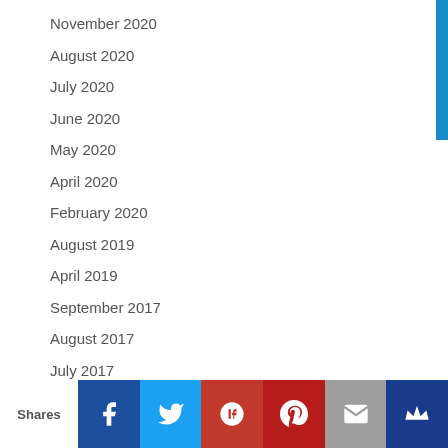November 2020
August 2020
July 2020
June 2020
May 2020
April 2020
February 2020
August 2019
April 2019
September 2017
August 2017
July 2017
June 2017
Shares | Facebook | Twitter | Google+ | Pinterest | Email | Crown